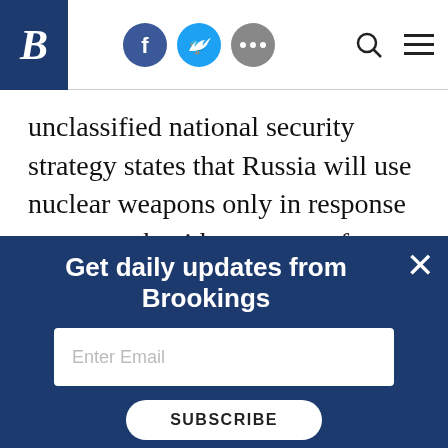B [Brookings logo] — social icons (Facebook, Twitter, More) — Search, Menu
unclassified national security strategy states that Russia will use nuclear weapons only in response to an attack with weapons of mass destruction on Russia or on a Russian ally, or in the event of an attack on Russia with conventional forces in which the existence of the Russian state is at stake. But Moscow has now put the nuclear option on the table
Get daily updates from Brookings
Enter Email
SUBSCRIBE